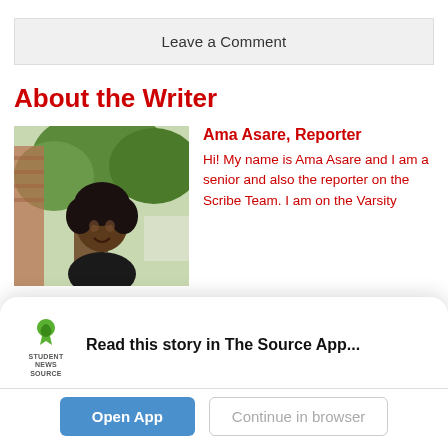Leave a Comment
About the Writer
[Figure (photo): Photo of Ama Asare, a young woman smiling, standing in front of a tree outdoors]
Ama Asare, Reporter
Hi! My name is Ama Asare and I am a senior and also the reporter on the Scribe Team. I am on the Varsity Girls Tennis Team, National...
Read this story in The Source App...
Open App
Continue in browser